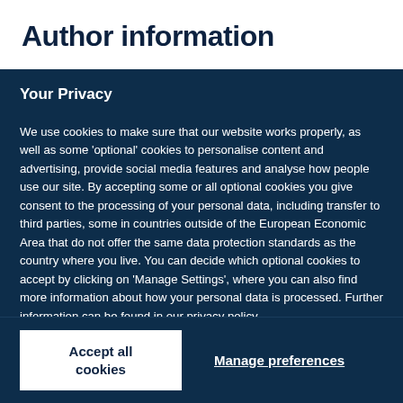Author information
Your Privacy
We use cookies to make sure that our website works properly, as well as some 'optional' cookies to personalise content and advertising, provide social media features and analyse how people use our site. By accepting some or all optional cookies you give consent to the processing of your personal data, including transfer to third parties, some in countries outside of the European Economic Area that do not offer the same data protection standards as the country where you live. You can decide which optional cookies to accept by clicking on 'Manage Settings', where you can also find more information about how your personal data is processed. Further information can be found in our privacy policy.
Accept all cookies
Manage preferences